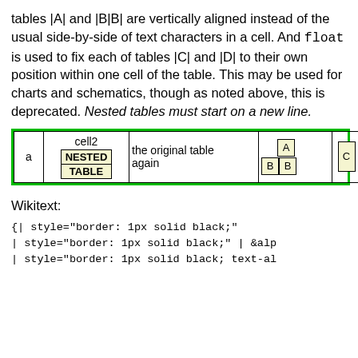tables |A| and |B|B| are vertically aligned instead of the usual side-by-side of text characters in a cell. And float is used to fix each of tables |C| and |D| to their own position within one cell of the table. This may be used for charts and schematics, though as noted above, this is deprecated. Nested tables must start on a new line.
| a | cell2 / NESTED TABLE | the original table again | A / B B | C D |
Wikitext:
{| style="border: 1px solid black;"
| style="border: 1px solid black;" | &alp
| style="border: 1px solid black; text-al